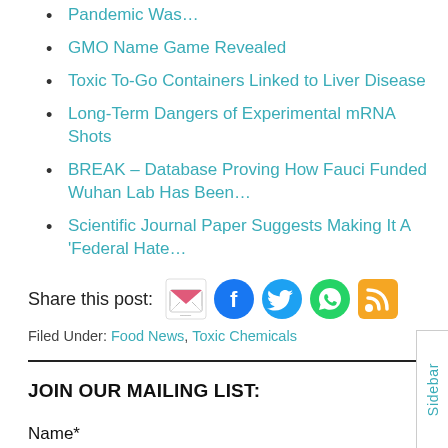Pandemic Was…
GMO Name Game Revealed
Toxic To-Go Containers Linked to Liver Disease
Long-Term Dangers of Experimental mRNA Shots
BREAK – Database Proving How Fauci Funded Wuhan Lab Has Been…
Scientific Journal Paper Suggests Making It A 'Federal Hate…
Share this post:
[Figure (infographic): Social share icons: email (pink/white envelope), Facebook (blue f), Twitter (blue bird), WhatsApp (green phone), RSS (orange wifi signal)]
Filed Under: Food News, Toxic Chemicals
JOIN OUR MAILING LIST:
Name*